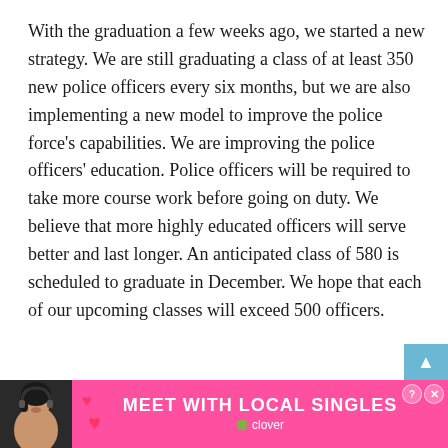With the graduation a few weeks ago, we started a new strategy. We are still graduating a class of at least 350 new police officers every six months, but we are also implementing a new model to improve the police force's capabilities. We are improving the police officers' education. Police officers will be required to take more course work before going on duty. We believe that more highly educated officers will serve better and last longer. An anticipated class of 580 is scheduled to graduate in December. We hope that each of our upcoming classes will exceed 500 officers.
[Figure (infographic): Pink advertisement banner reading 'MEET WITH LOCAL SINGLES' with Clover app branding, woman's photo on left with heart emojis, close and help icons on upper right.]